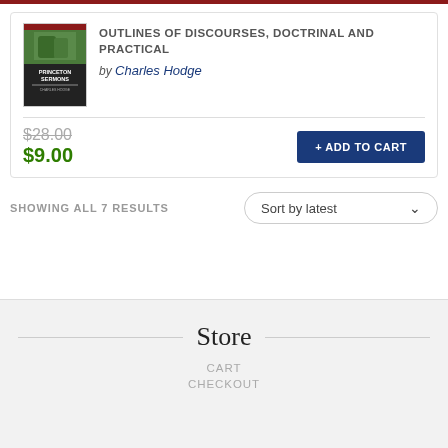[Figure (illustration): Book cover of Princeton Sermons with green landscape image]
OUTLINES OF DISCOURSES, DOCTRINAL AND PRACTICAL
by Charles Hodge
$28.00 (strikethrough) $9.00
+ ADD TO CART
SHOWING ALL 7 RESULTS
Sort by latest
Store
CART
CHECKOUT